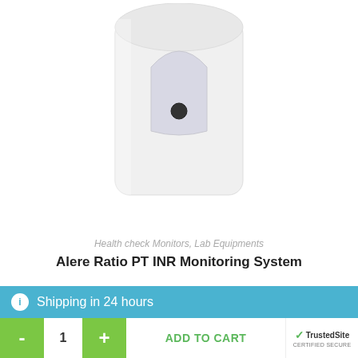[Figure (photo): White medical device - Alere Ratio PT INR Monitoring System, showing top/back view of a white rectangular device with a rounded top and a small circular sensor port]
Health check Monitors, Lab Equipments
Alere Ratio PT INR Monitoring System
₹34,500.00
[Figure (other): 5-star rating widget showing empty/outline stars]
Add to cart
ℹ Shipping in 24 hours
- 1 + ADD TO CART TrustedSite CERTIFIED SECURE